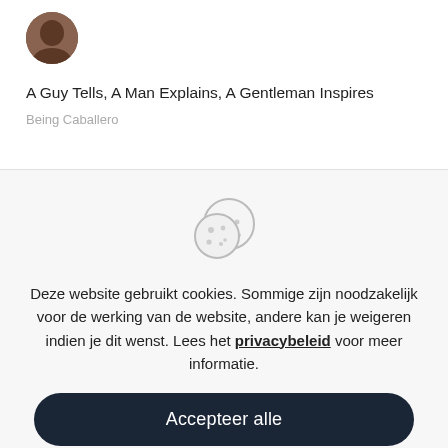[Figure (photo): Circular avatar photo of a person, partially visible at the top]
A Guy Tells, A Man Explains, A Gentleman Inspires
Being Caballero
[Figure (illustration): Cookie icon — two overlapping cookie circles with dots/chips]
Deze website gebruikt cookies. Sommige zijn noodzakelijk voor de werking van de website, andere kan je weigeren indien je dit wenst. Lees het privacybeleid voor meer informatie.
Accepteer alle
Aanpassen